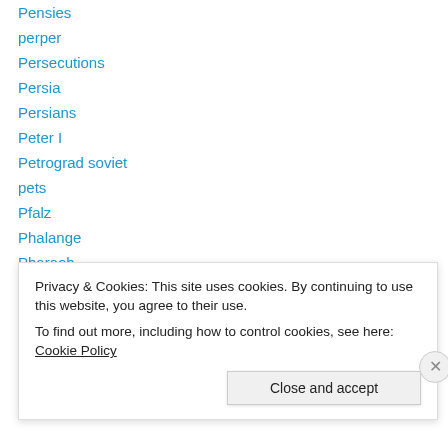Pensies
perper
Persecutions
Persia
Persians
Peter I
Petrograd soviet
pets
Pfalz
Phalange
Pharaoh
Philip Scheidemann
Phillipe Petain
physis
Privacy & Cookies: This site uses cookies. By continuing to use this website, you agree to their use.
To find out more, including how to control cookies, see here: Cookie Policy
Close and accept